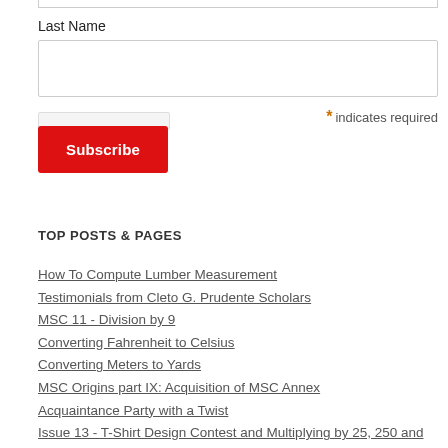Last Name
* indicates required
Subscribe
TOP POSTS & PAGES
How To Compute Lumber Measurement
Testimonials from Cleto G. Prudente Scholars
MSC 11 - Division by 9
Converting Fahrenheit to Celsius
Converting Meters to Yards
MSC Origins part IX: Acquisition of MSC Annex
Acquaintance Party with a Twist
Issue 13 - T-Shirt Design Contest and Multiplying by 25, 250 and